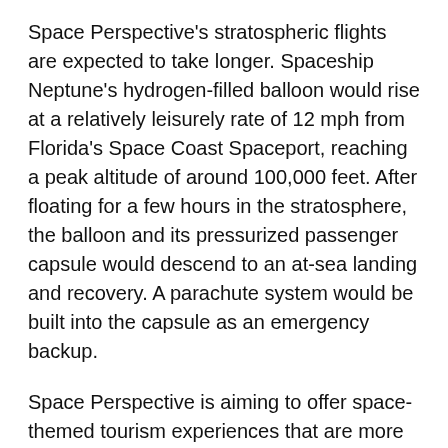Space Perspective's stratospheric flights are expected to take longer. Spaceship Neptune's hydrogen-filled balloon would rise at a relatively leisurely rate of 12 mph from Florida's Space Coast Spaceport, reaching a peak altitude of around 100,000 feet. After floating for a few hours in the stratosphere, the balloon and its pressurized passenger capsule would descend to an at-sea landing and recovery. A parachute system would be built into the capsule as an emergency backup.
Space Perspective is aiming to offer space-themed tourism experiences that are more adventurous than a zero-gravity airplane flight, but less expensive and less risky than rocket-powered spaceflights. Last year, the company conducted a 6.5-hour, 108,000-foot-high flight test of its balloon system and announced a $40 million financing round to support further development.